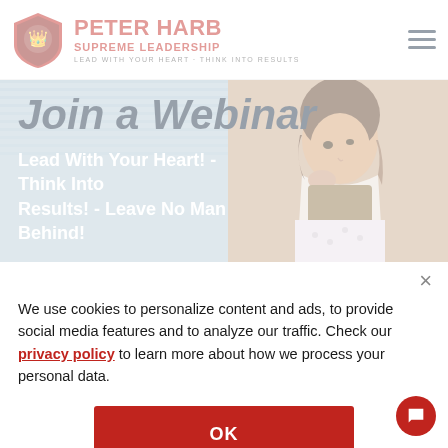[Figure (logo): Peter Harb Supreme Leadership shield logo with red crest and text]
[Figure (screenshot): Website screenshot showing 'Join a Webinar' hero section with woman thinking, subtitle 'Lead With Your Heart! - Think Into Results! - Leave No Man Behind!' and a red underline]
We use cookies to personalize content and ads, to provide social media features and to analyze our traffic. Check our privacy policy to learn more about how we process your personal data.
OK